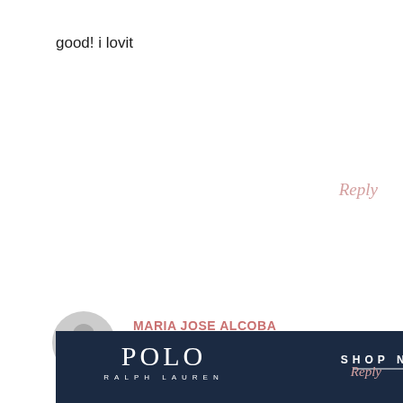good! i lovit
Reply
[Figure (illustration): Gray circular user avatar icon]
MARIA JOSE ALCOBA
APRIL 13, 2020 AT 2:07 PM
Love this preset
[Figure (screenshot): Polo Ralph Lauren advertisement banner with dark navy background, POLO logo on left, SHOP NOW button in center, and a man in suit on right]